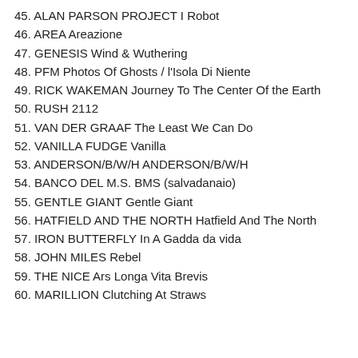45. ALAN PARSON PROJECT I Robot
46. AREA Areazione
47. GENESIS Wind & Wuthering
48. PFM Photos Of Ghosts / l'Isola Di Niente
49. RICK WAKEMAN Journey To The Center Of the Earth
50. RUSH 2112
51. VAN DER GRAAF The Least We Can Do
52. VANILLA FUDGE Vanilla
53. ANDERSON/B/W/H ANDERSON/B/W/H
54. BANCO DEL M.S. BMS (salvadanaio)
55. GENTLE GIANT Gentle Giant
56. HATFIELD AND THE NORTH Hatfield And The North
57. IRON BUTTERFLY In A Gadda da vida
58. JOHN MILES Rebel
59. THE NICE Ars Longa Vita Brevis
60. MARILLION Clutching At Straws